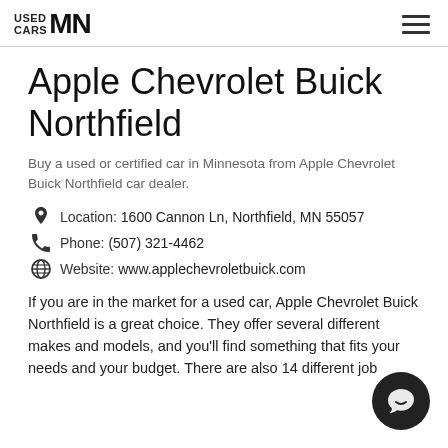USED CARS MN
Apple Chevrolet Buick Northfield
Buy a used or certified car in Minnesota from Apple Chevrolet Buick Northfield car dealer.
Location: 1600 Cannon Ln, Northfield, MN 55057
Phone: (507) 321-4462
Website: www.applechevroletbuick.com
If you are in the market for a used car, Apple Chevrolet Buick Northfield is a great choice. They offer several different makes and models, and you'll find something that fits your needs and your budget. There are also 14 different job